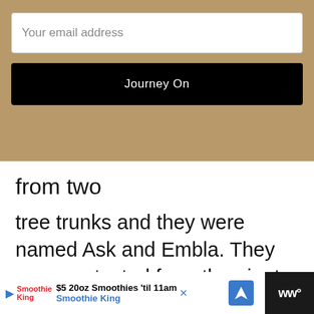[Figure (screenshot): Email subscription form with gold/tan background, white email input field labeled 'Your email address', and a black 'Journey On' button]
from two
tree trunks and they were named Ask and Embla. They were protected from the giants by a fence that went around their home in Midgard.
The Myth of Ragnarok
From the beginning of time, we now travel
[Figure (screenshot): Advertisement banner for Smoothie King: '$5 20oz Smoothies 'til 11am' with Smoothie King logo and navigation arrow icon]